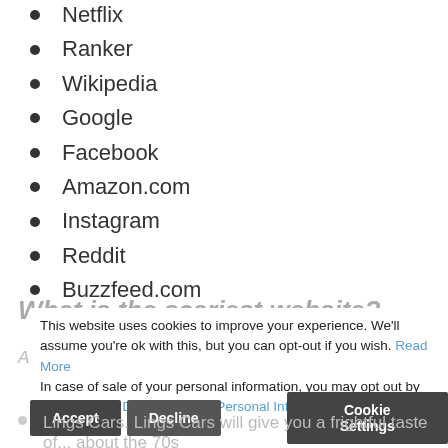Netflix
Ranker
Wikipedia
Google
Facebook
Amazon.com
Instagram
Reddit
Buzzfeed.com
What is the scariest website?
This website uses cookies to improve your experience. We'll assume you're ok with this, but you can opt-out if you wish. Read More In case of sale of your personal information, you may opt out by using the link Do Not Sell My Personal Information
Alrightme. This site is an instant nightmare
Lings Cars. Lings Cars will give you a frightful taste of... about the 70s
Gates N Fences. A real dot com doom this website